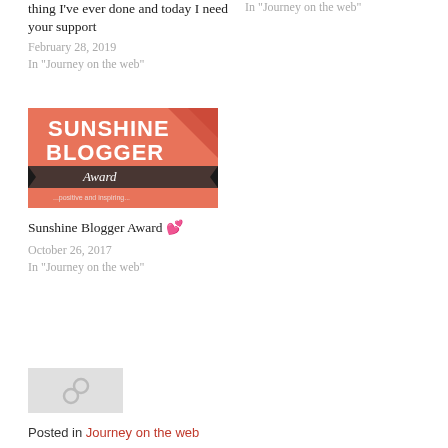thing I've ever done and today I need your support
February 28, 2019
In "Journey on the web"
In "Journey on the web"
[Figure (photo): Sunshine Blogger Award image with coral/red background showing the text SUNSHINE BLOGGER Award with a ribbon banner]
Sunshine Blogger Award 💕
October 26, 2017
In "Journey on the web"
[Figure (other): Gray placeholder image with a chain link icon]
Posted in Journey on the web